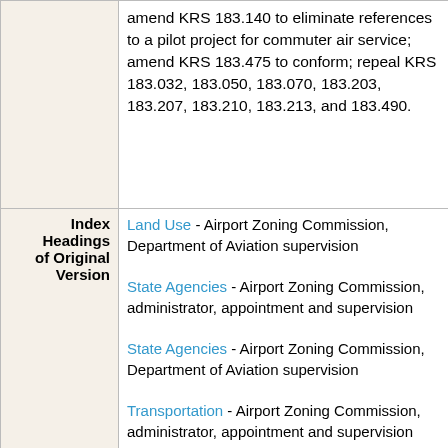|  | amend KRS 183.140 to eliminate references to a pilot project for commuter air service; amend KRS 183.475 to conform; repeal KRS 183.032, 183.050, 183.070, 183.203, 183.207, 183.210, 183.213, and 183.490. |
| Index Headings of Original Version | Land Use - Airport Zoning Commission, Department of Aviation supervision
State Agencies - Airport Zoning Commission, administrator, appointment and supervision
State Agencies - Airport Zoning Commission, Department of Aviation supervision
Transportation - Airport Zoning Commission, administrator, appointment and supervision
Aeronautics and Aviation - Airport Zoning Commission, administrator |